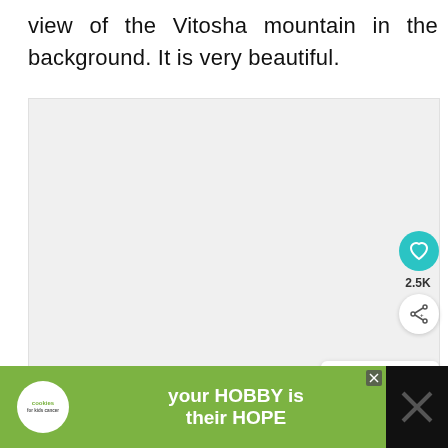view of the Vitosha mountain in the background. It is very beautiful.
[Figure (screenshot): Large white/light gray content area (image placeholder) with UI overlay elements: a teal heart/like button showing 2.5K likes, a white share button, and a 'WHAT'S NEXT' card showing a thumbnail and text 'Incredible Things to D...']
[Figure (photo): Advertisement banner at bottom: black background with cookies for Kids Cancer logo, image of hands holding yellow heart cookie, green background with text 'your HOBBY is their HOPE', and a close button (X)]